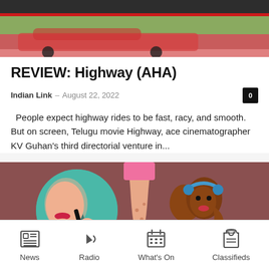[Figure (photo): Top portion of a car/road scene, partially visible at top of page]
REVIEW: Highway (AHA)
Indian Link  –  August 22, 2022
People expect highway rides to be fast, racy, and smooth. But on screen, Telugu movie Highway, ace cinematographer KV Guhan's third directorial venture in...
[Figure (illustration): Illustrated graphic on dark mauve background showing stylized figures: a woman applying makeup in a circle, legs in pink heels, and a brown-skinned woman with headphones]
News  Radio  What's On  Classifieds